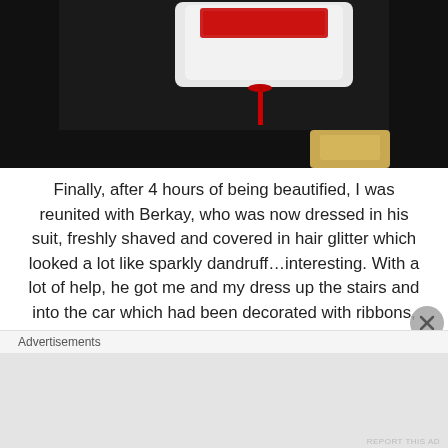[Figure (photo): Partial photo showing a white object (possibly a bottle or container) with a red cord/ribbon against a dark background, with sandy/wooden surface visible at bottom right]
Finally, after 4 hours of being beautified, I was reunited with Berkay, who was now dressed in his suit, freshly shaved and covered in hair glitter which looked a lot like sparkly dandruff…interesting. With a lot of help, he got me and my dress up the stairs and into the car which had been decorated with ribbons, flowers and fancy number plates, letting everyone know that we were the bride and groom, just in case the outfits didn't give it away! We went back to his house, I mustered up the courage to have a last minute pee, which was very difficult in my dress and
Advertisements